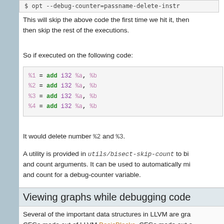$ opt --debug-counter=passname-delete-instr
This will skip the above code the first time we hit it, then then skip the rest of the executions.
So if executed on the following code:
%1 = add i32 %a, %b
%2 = add i32 %a, %b
%3 = add i32 %a, %b
%4 = add i32 %a, %b
It would delete number %2 and %3.
A utility is provided in utils/bisect-skip-count to bi and count arguments. It can be used to automatically mi and count for a debug-counter variable.
Viewing graphs while debugging code
Several of the important data structures in LLVM are gra CFGs made out of LLVM BasicBlocks, CFGs made out of MachineBasicBlocks, and Instruction Selection DAGs. In while debugging various parts of the compiler, it is nice